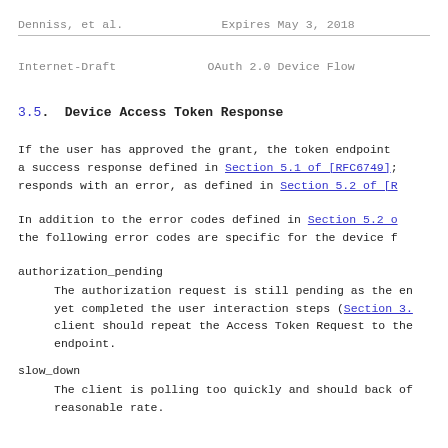Denniss, et al.          Expires May 3, 2018
Internet-Draft           OAuth 2.0 Device Flow
3.5.  Device Access Token Response
If the user has approved the grant, the token endpoint a success response defined in Section 5.1 of [RFC6749]; responds with an error, as defined in Section 5.2 of [R
In addition to the error codes defined in Section 5.2 o the following error codes are specific for the device f
authorization_pending
     The authorization request is still pending as the en yet completed the user interaction steps (Section 3. client should repeat the Access Token Request to the endpoint.
slow_down
     The client is polling too quickly and should back of reasonable rate.